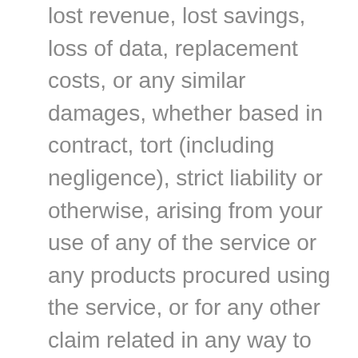lost revenue, lost savings, loss of data, replacement costs, or any similar damages, whether based in contract, tort (including negligence), strict liability or otherwise, arising from your use of any of the service or any products procured using the service, or for any other claim related in any way to your use of the service or any product, including, but not limited to, any errors or omissions in any content, or any loss or damage of any kind incurred as a result of the use of the service or any content (or product) posted, transmitted, or otherwise made available via the service, even if advised of their possibility. Because some states or jurisdictions do not allow the exclusion or the limitation of liability for consequential or incidental damages, in such states or jurisdictions,